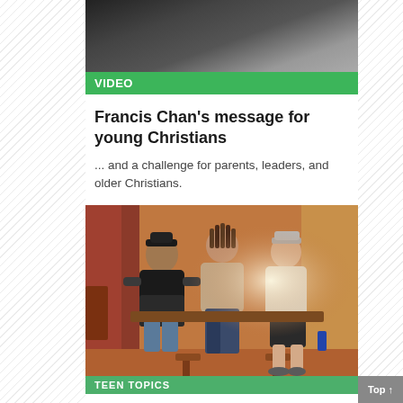[Figure (photo): Partial top photo showing a person, black and white or dark tones, partially cropped]
VIDEO
Francis Chan's message for young Christians
... and a challenge for parents, leaders, and older Christians.
[Figure (photo): Three young men sitting together outdoors in warm light, one with dreadlocks in the center, one in black shirt on the left, one in white shirt on the right]
TEEN TOPICS